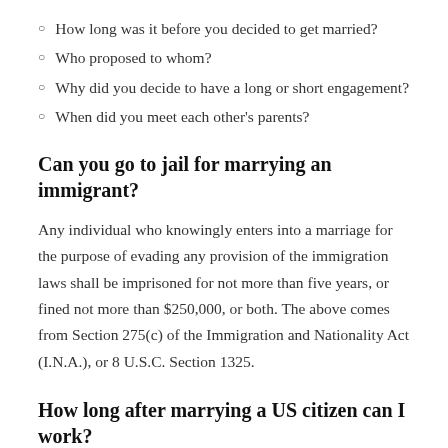How long was it before you decided to get married?
Who proposed to whom?
Why did you decide to have a long or short engagement?
When did you meet each other's parents?
Can you go to jail for marrying an immigrant?
Any individual who knowingly enters into a marriage for the purpose of evading any provision of the immigration laws shall be imprisoned for not more than five years, or fined not more than $250,000, or both. The above comes from Section 275(c) of the Immigration and Nationality Act (I.N.A.), or 8 U.S.C. Section 1325.
How long after marrying a US citizen can I work?
Your work permit will arrive within five months — up to seven